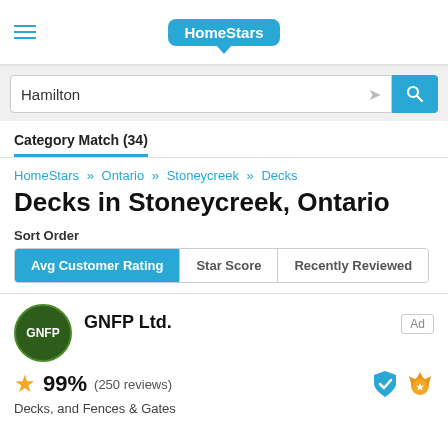HomeStars
Hamilton
Category Match (34)
HomeStars » Ontario » Stoneycreek » Decks
Decks in Stoneycreek, Ontario
Sort Order
Avg Customer Rating | Star Score | Recently Reviewed
GNFP Ltd.
99% (250 reviews)
Decks, and Fences & Gates